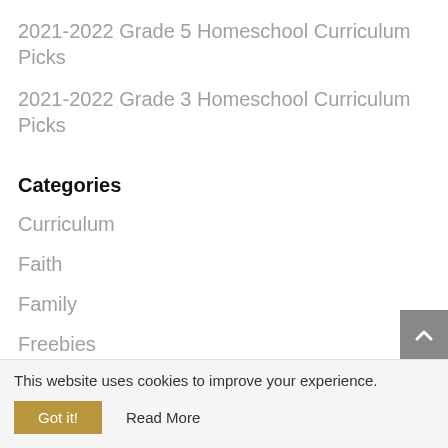2021-2022 Grade 5 Homeschool Curriculum Picks
2021-2022 Grade 3 Homeschool Curriculum Picks
Categories
Curriculum
Faith
Family
Freebies
Homeschooling
This website uses cookies to improve your experience.
Got it!  Read More